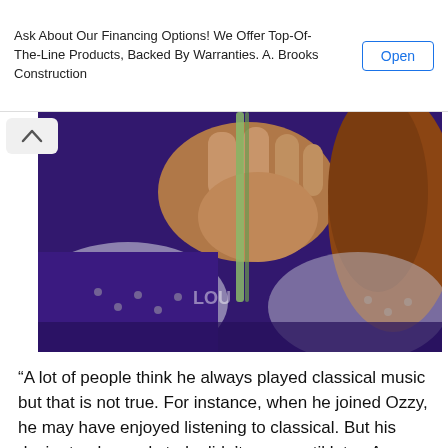Ask About Our Financing Options! We Offer Top-Of-The-Line Products, Backed By Warranties. A. Brooks Construction
[Figure (photo): Close-up video still of a person in a purple outfit holding something near their face/neck, with patterned fabric visible.]
“A lot of people think he always played classical music but that is not true. For instance, when he joined Ozzy, he may have enjoyed listening to classical. But his desire to play and study didn’t come until later. As a matter of fact,